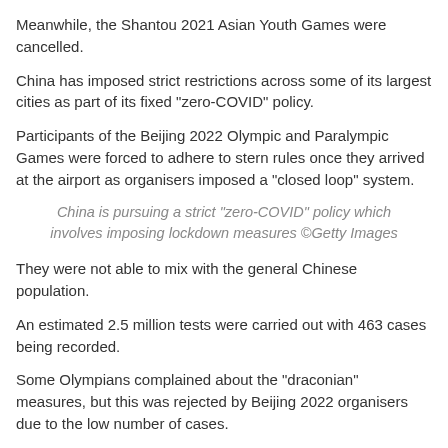Meanwhile, the Shantou 2021 Asian Youth Games were cancelled.
China has imposed strict restrictions across some of its largest cities as part of its fixed "zero-COVID" policy.
Participants of the Beijing 2022 Olympic and Paralympic Games were forced to adhere to stern rules once they arrived at the airport as organisers imposed a "closed loop" system.
China is pursuing a strict "zero-COVID" policy which involves imposing lockdown measures ©Getty Images
They were not able to mix with the general Chinese population.
An estimated 2.5 million tests were carried out with 463 cases being recorded.
Some Olympians complained about the "draconian" measures, but this was rejected by Beijing 2022 organisers due to the low number of cases.
The ITTF had previously announced the table tennis competition would be subject to a "closed-loop management system in a bubble format", which is similar to the one imposed for Beijing